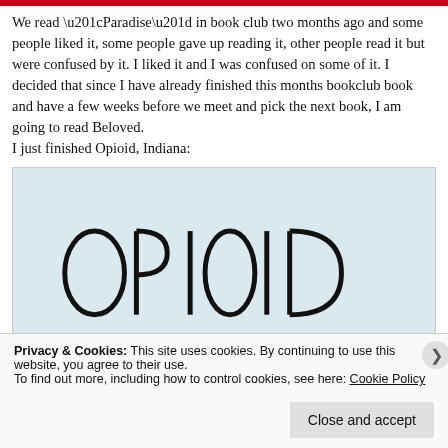We read “Paradise” in book club two months ago and some people liked it, some people gave up reading it, other people read it but were confused by it. I liked it and I was confused on some of it. I decided that since I have already finished this months bookclub book and have a few weeks before we meet and pick the next book, I am going to read Beloved.
I just finished Opioid, Indiana:
[Figure (photo): Book cover photo of 'Opioid Indiana' showing large hand-drawn style letters spelling OPIOID on a light blue background]
Privacy & Cookies: This site uses cookies. By continuing to use this website, you agree to their use.
To find out more, including how to control cookies, see here: Cookie Policy
Close and accept